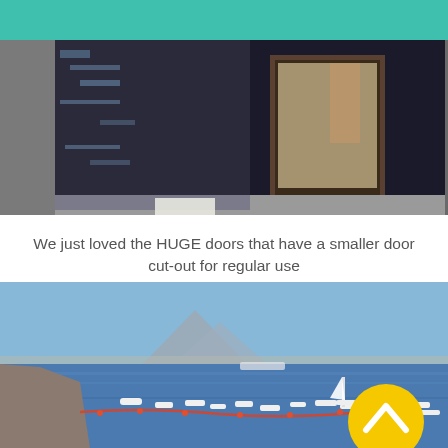[Figure (photo): Close-up of a very large weathered wooden door with peeling paint and an inset smaller door cut-out for regular use]
We just loved the HUGE doors that have a smaller door cut-out for regular use
[Figure (photo): Harbour scene with boats on blue water, a mountain (possibly Mount Vesuvius) in the background under a clear sky, with a yellow circular scroll-up button overlay in the bottom right]